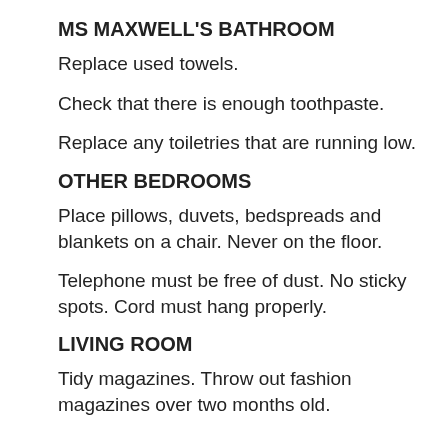MS MAXWELL'S BATHROOM
Replace used towels.
Check that there is enough toothpaste.
Replace any toiletries that are running low.
OTHER BEDROOMS
Place pillows, duvets, bedspreads and blankets on a chair. Never on the floor.
Telephone must be free of dust. No sticky spots. Cord must hang properly.
LIVING ROOM
Tidy magazines. Throw out fashion magazines over two months old.